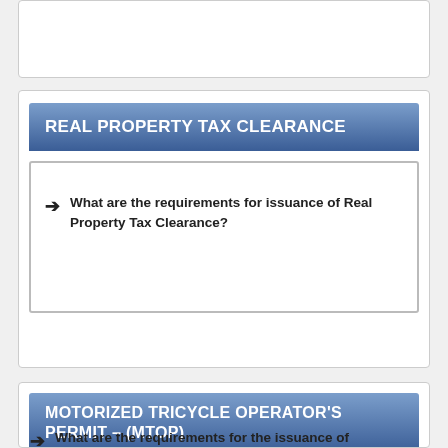REAL PROPERTY TAX CLEARANCE
What are the requirements for issuance of Real Property Tax Clearance?
MOTORIZED TRICYCLE OPERATOR'S PERMIT – (MTOP)
What are the requirements for the issuance of